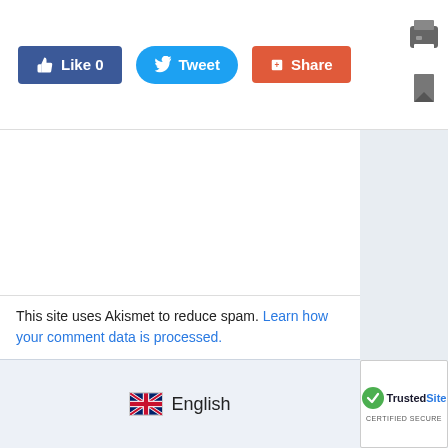[Figure (screenshot): Social sharing buttons: Like 0 (Facebook, blue), Tweet (Twitter, blue), Share (Google+/red). Printer icon top right.]
This site uses Akismet to reduce spam. Learn how your comment data is processed.
🇬🇧 English
[Figure (logo): TrustedSite CERTIFIED SECURE badge with green checkmark]